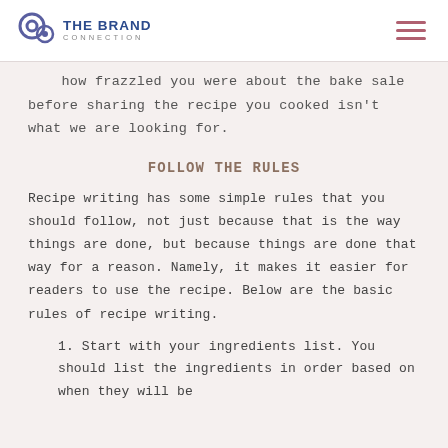THE BRAND CONNECTION
how frazzled you were about the bake sale before sharing the recipe you cooked isn't what we are looking for.
FOLLOW THE RULES
Recipe writing has some simple rules that you should follow, not just because that is the way things are done, but because things are done that way for a reason. Namely, it makes it easier for readers to use the recipe. Below are the basic rules of recipe writing.
1. Start with your ingredients list. You should list the ingredients in order based on when they will be